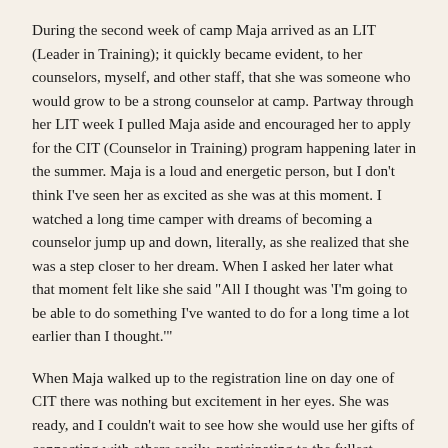During the second week of camp Maja arrived as an LIT (Leader in Training); it quickly became evident, to her counselors, myself, and other staff, that she was someone who would grow to be a strong counselor at camp. Partway through her LIT week I pulled Maja aside and encouraged her to apply for the CIT (Counselor in Training) program happening later in the summer. Maja is a loud and energetic person, but I don't think I've seen her as excited as she was at this moment. I watched a long time camper with dreams of becoming a counselor jump up and down, literally, as she realized that she was a step closer to her dream. When I asked her later what that moment felt like she said "All I thought was 'I'm going to be able to do something I've wanted to do for a long time a lot earlier than I thought.'"
When Maja walked up to the registration line on day one of CIT there was nothing but excitement in her eyes. She was ready, and I couldn't wait to see how she would use her gifts of connecting with others easily, participating to the fullest, caring for those around her, and of course brining pure joy to whoever she came in contact with. To put it simply, Maja did